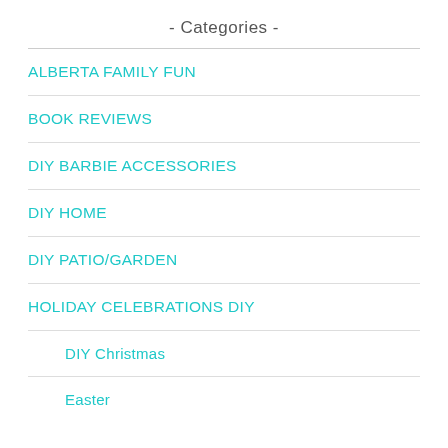- Categories -
ALBERTA FAMILY FUN
BOOK REVIEWS
DIY BARBIE ACCESSORIES
DIY HOME
DIY PATIO/GARDEN
HOLIDAY CELEBRATIONS DIY
DIY Christmas
Easter